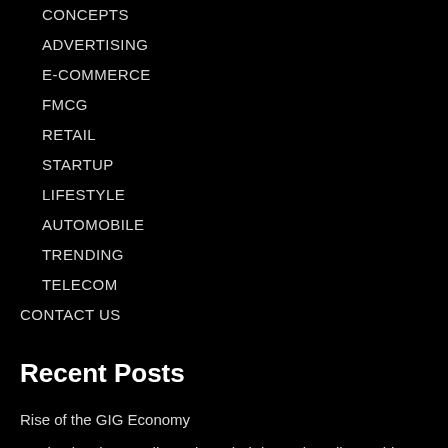CONCEPTS
ADVERTISING
E-COMMERCE
FMCG
RETAIL
STARTUP
LIFESTYLE
AUTOMOBILE
TRENDING
TELECOM
CONTACT US
Recent Posts
Rise of the GIG Economy
Starbucks plans to discontinue their legendary disposable cups.
Domino's is a Pizza company, a tech company, or a delivery